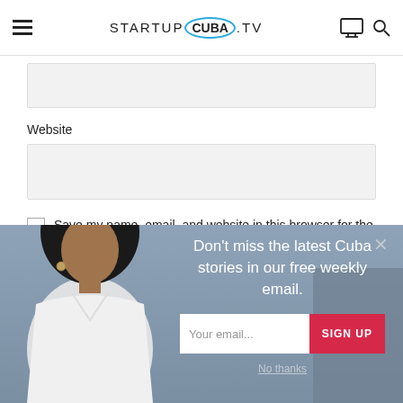STARTUP CUBA .TV
Website
Save my name, email, and website in this browser for the next time I comment.
SUBMIT COMMENT
[Figure (screenshot): Popup overlay with woman's photo and newsletter signup. Text: Don't miss the latest Cuba stories in our free weekly email. Email input field and SIGN UP button. No thanks link at bottom.]